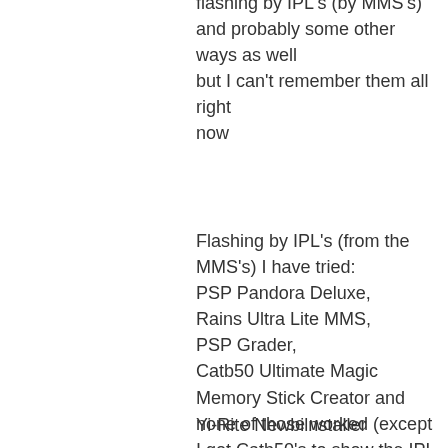flashing by IPL's (by MMS's) and probably some other ways as well but I can't remember them all right now
Flashing by IPL's (from the MMS's) I have tried:
PSP Pandora Deluxe,
Rains Ultra Lite MMS,
PSP Grader,
Catb50 Ultimate Magic Memory Stick Creator and none of those worked (except I got Catb50's to show the IPL screen except I could not for the life of me get past it — I was trying the 3.80 option maybe would have worked with the 3.71 option) <- I have now tried this as well (3.71 option in catb50's and it doesn't work either to best my knowledge).
Yi-Rite Newbilnstaller